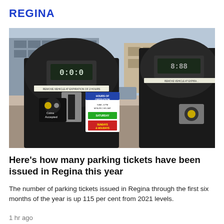REGINA
[Figure (photo): Two black coin-operated parking meters on a street in Regina. The left meter shows a digital display reading '0:00', a coin slot labeled 'Coins Accepted', and a sticker reading 'REMOVE VEHICLE AT EXPIRATION OF 2 HOURS' and 'HOURS OF OPERATION'. The right meter is partially visible. Buildings and a street scene are visible in the background.]
Here's how many parking tickets have been issued in Regina this year
The number of parking tickets issued in Regina through the first six months of the year is up 115 per cent from 2021 levels.
1 hr ago